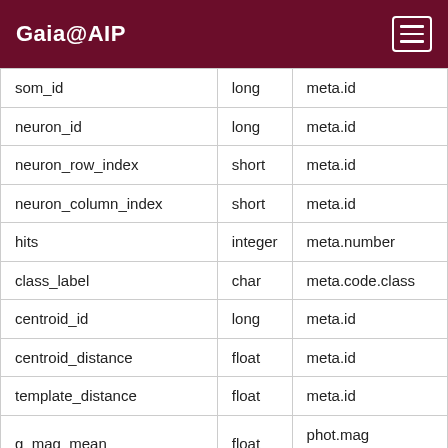Gaia@AIP
| name | type | ucd |
| --- | --- | --- |
| som_id | long | meta.id |
| neuron_id | long | meta.id |
| neuron_row_index | short | meta.id |
| neuron_column_index | short | meta.id |
| hits | integer | meta.number |
| class_label | char | meta.code.class |
| centroid_id | long | meta.id |
| centroid_distance | float | meta.id |
| template_distance | float | meta.id |
| g_mag_mean | float | phot.mag em.opt |